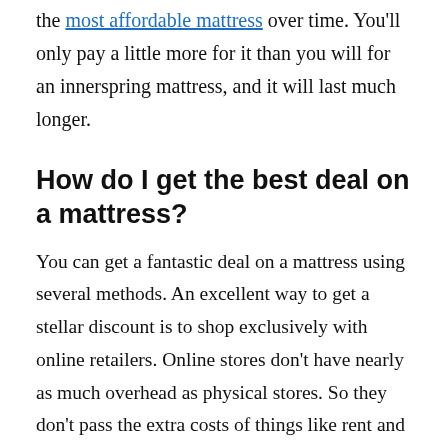the most affordable mattress over time. You'll only pay a little more for it than you will for an innerspring mattress, and it will last much longer.
How do I get the best deal on a mattress?
You can get a fantastic deal on a mattress using several methods. An excellent way to get a stellar discount is to shop exclusively with online retailers. Online stores don't have nearly as much overhead as physical stores. So they don't pass the extra costs of things like rent and electricity and sales staff to you.
You can also shop annual sales like the kind that